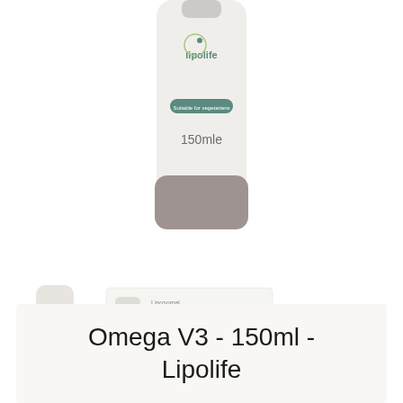[Figure (photo): Main product photo: Lipolife Omega V3 150ml bottle, white/grey bottle with lipolife branding and 'Suitable for vegetarians' label, showing 150ml marking]
[Figure (photo): Two product thumbnails: small dark bottle of Lipolife and a box packaging of Lipolife Omega V3 showing 150ml]
Omega V3 - 150ml - Lipolife